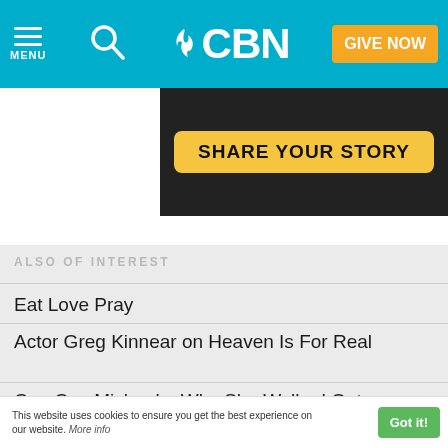MENU | CBN | GIVE NOW
[Figure (screenshot): Dark banner with SHARE YOUR STORY button in yellow/gold]
ALSO OF INTEREST
Eat Love Pray
Actor Greg Kinnear on Heaven Is For Real
Cee Cee Michaela: Why She Walked Out
[Figure (logo): CBN logo in grey]
This website uses cookies to ensure you get the best experience on our website. More info